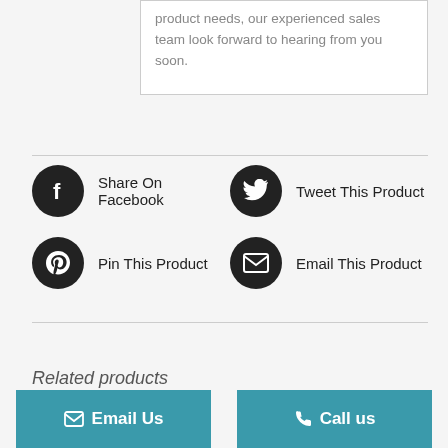product needs, our experienced sales team look forward to hearing from you soon.
[Figure (infographic): Social sharing buttons: Share On Facebook (Facebook icon), Tweet This Product (Twitter icon), Pin This Product (Pinterest icon), Email This Product (envelope icon)]
Related products
Email Us
Call us